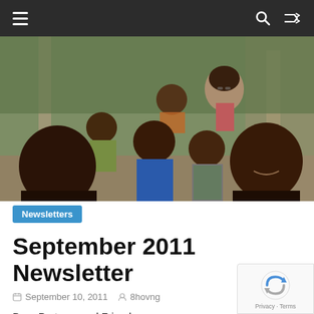Navigation bar with hamburger menu, search icon, and shuffle icon
[Figure (photo): Group of African children with a woman with glasses in the background, photographed under a covered outdoor area]
Newsletters
September 2011 Newsletter
September 10, 2011  8hovng
Dear Partners and Friends,